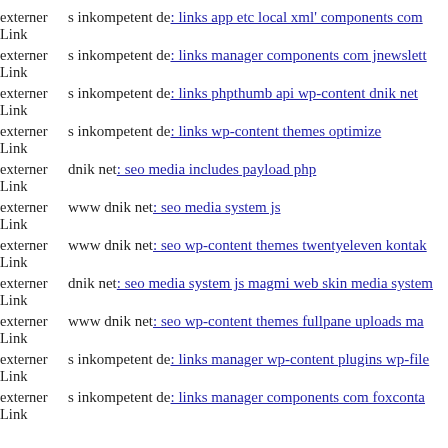externer Link s inkompetent de: links app etc local xml' components com
externer Link s inkompetent de: links manager components com jnewslett
externer Link s inkompetent de: links phpthumb api wp-content dnik net
externer Link s inkompetent de: links wp-content themes optimize
externer Link dnik net: seo media includes payload php
externer Link www dnik net: seo media system js
externer Link www dnik net: seo wp-content themes twentyeleven kontak
externer Link dnik net: seo media system js magmi web skin media system
externer Link www dnik net: seo wp-content themes fullpane uploads ma
externer Link s inkompetent de: links manager wp-content plugins wp-file
externer Link s inkompetent de: links manager components com foxconta